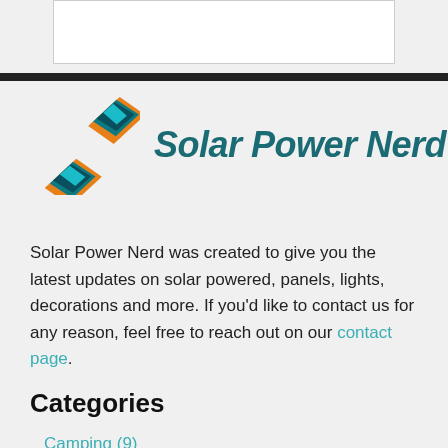[Figure (logo): Solar Power Nerd logo with two overlapping solar panels in teal and orange, followed by bold italic teal text reading 'Solar Power Nerd']
Solar Power Nerd was created to give you the latest updates on solar powered, panels, lights, decorations and more. If you'd like to contact us for any reason, feel free to reach out on our contact page.
Categories
Camping (9)